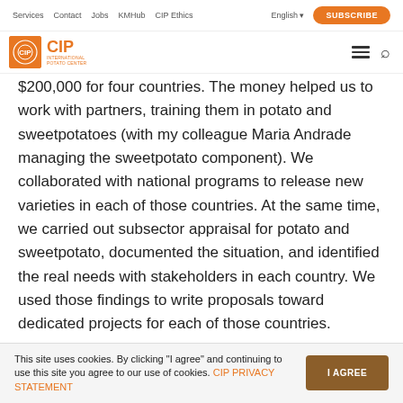Services | Contact | Jobs | KMHub | CIP Ethics | English | SUBSCRIBE
[Figure (logo): CIP International Potato Center logo with orange square and text]
$200,000 for four countries. The money helped us to work with partners, training them in potato and sweetpotatoes (with my colleague Maria Andrade managing the sweetpotato component). We collaborated with national programs to release new varieties in each of those countries. At the same time, we carried out subsector appraisal for potato and sweetpotato, documented the situation, and identified the real needs with stakeholders in each country. We used those findings to write proposals toward dedicated projects for each of those countries.
This site uses cookies. By clicking "I agree" and continuing to use this site you agree to our use of cookies. CIP PRIVACY STATEMENT